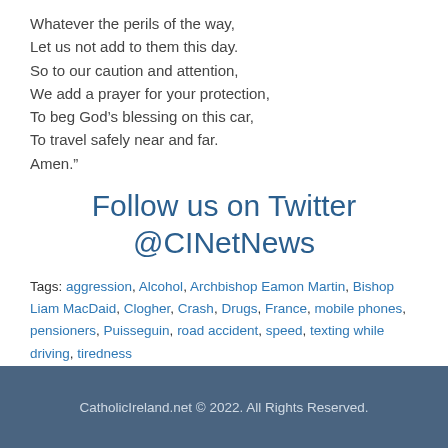Whatever the perils of the way,
Let us not add to them this day.
So to our caution and attention,
We add a prayer for your protection,
To beg God’s blessing on this car,
To travel safely near and far.
Amen.”
Follow us on Twitter
@CINetNews
Tags: aggression, Alcohol, Archbishop Eamon Martin, Bishop Liam MacDaid, Clogher, Crash, Drugs, France, mobile phones, pensioners, Puisseguin, road accident, speed, texting while driving, tiredness
CatholicIreland.net © 2022. All Rights Reserved.